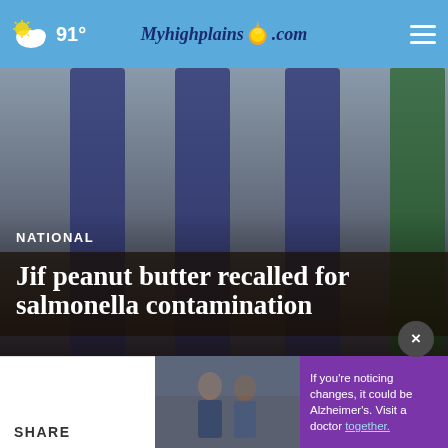91° Myhighplains.com
[Figure (photo): Background image: blurred pillars in blue/grey tones, outdoor setting]
NATIONAL
Jif peanut butter recalled for salmonella contamination
Jif peanut butter in plastic jar (AP Images)
by: Dylan Abad, Nexstar Media Wire
Posted: May 21, 2022 / 04:26 PM CDT
Updated: May 21, 2022 / 04:26 PM CDT
SHARE
[Figure (photo): Two men standing together outdoors, advertisement for Alzheimer's awareness]
If you're noticing changes, it could be Alzheimer's. Visit a doctor together.